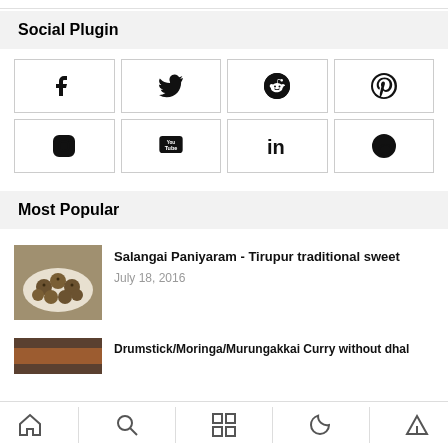Social Plugin
[Figure (infographic): 8 social media icon buttons in a 4x2 grid: Facebook, Twitter, Reddit, Pinterest, Instagram, YouTube, LinkedIn, WhatsApp]
Most Popular
[Figure (photo): Thumbnail image of Salangai Paniyaram – round fried sweet balls on a plate]
Salangai Paniyaram – Tirupur traditional sweet
July 18, 2016
[Figure (photo): Thumbnail image of Drumstick/Moringa/Murungakkai Curry without dhal]
Drumstick/Moringa/Murungakkai Curry without dhal
Home | Search | Grid | Night mode | Upload